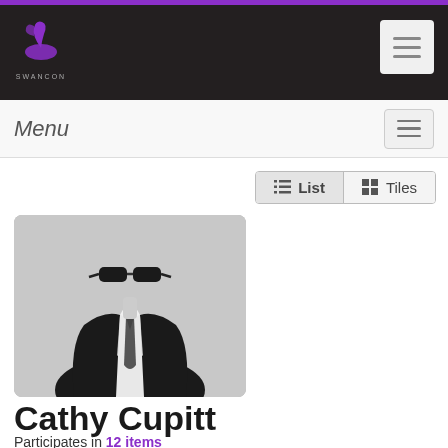Swancon logo and navigation header
Menu
[Figure (screenshot): List and Tiles view toggle buttons]
[Figure (photo): Black and white photo of a headless figure in a suit with sunglasses on top, representing Cathy Cupitt's profile image]
Cathy Cupitt
Participates in 12 items